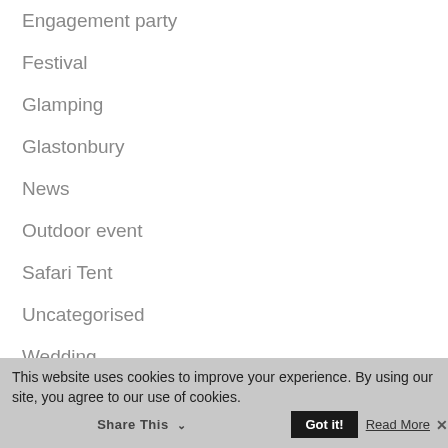Engagement party
Festival
Glamping
Glastonbury
News
Outdoor event
Safari Tent
Uncategorised
Wedding
This website uses cookies to improve your experience. By using our site, you agree to our use of cookies.
Share This
Got it!
Read More